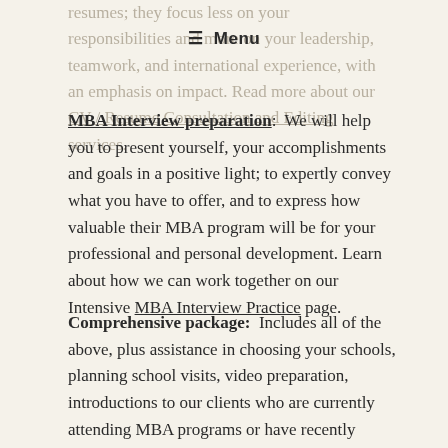Menu
resumes; they focus less on your responsibilities and more on your leadership, teamwork, and international experience, with an emphasis on impact. Read more about our CV / Resume Consultation and Editing services.
MBA Interview preparation: We will help you to present yourself, your accomplishments and goals in a positive light; to expertly convey what you have to offer, and to express how valuable their MBA program will be for your professional and personal development. Learn about how we can work together on our Intensive MBA Interview Practice page.
Comprehensive package: Includes all of the above, plus assistance in choosing your schools, planning school visits, video preparation, introductions to our clients who are currently attending MBA programs or have recently graduated, and, possibly most importantly, emotional support. This is a long, and at times, very stressful